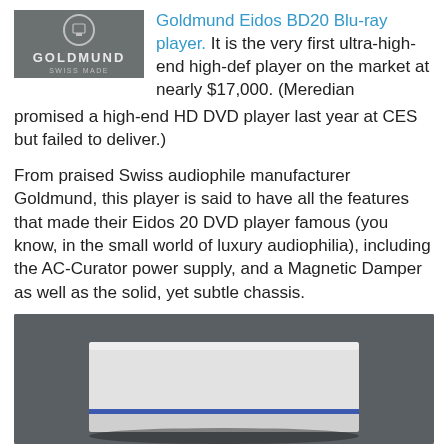[Figure (photo): Goldmund logo on grey background — GOLDMUND SWISS MADE text with circular icon]
Goldmund Eidos BD20 Blu-ray player. It is the very first ultra-high-end high-def player on the market at nearly $17,000. (Meredian promised a high-end HD DVD player last year at CES but failed to deliver.)
From praised Swiss audiophile manufacturer Goldmund, this player is said to have all the features that made their Eidos 20 DVD player famous (you know, in the small world of luxury audiophilia), including the AC-Curator power supply, and a Magnetic Damper as well as the solid, yet subtle chassis.
[Figure (photo): Photograph of the Goldmund Eidos BD20 Blu-ray player — a sleek white/silver rectangular device on a dark grey background]